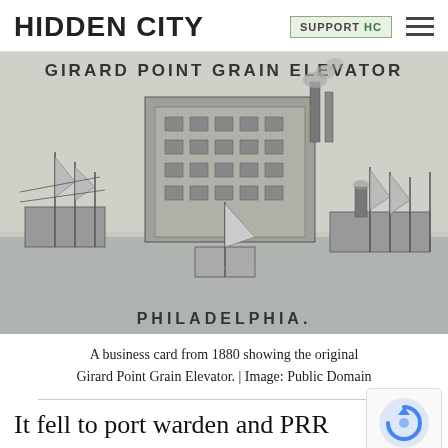HIDDEN CITY | SUPPORT HC
[Figure (illustration): A black and white historical illustration of the Girard Point Grain Elevator in Philadelphia, showing sailing ships and steamships docked at a waterfront grain elevator facility. Text in the image reads 'GIRARD POINT GRAIN ELEVATOR' at the top and 'PHILADELPHIA.' at the bottom.]
A business card from 1880 showing the original Girard Point Grain Elevator. | Image: Public Domain
It fell to port warden and PRR presiden…